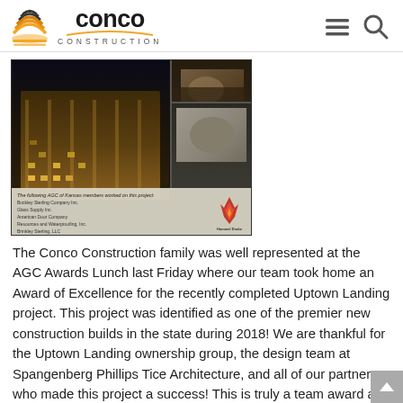conco CONSTRUCTION
[Figure (photo): Collage image of the Uptown Landing construction project: a large illuminated multi-story building at night, plus interior shots of rooms, with text listing AGC of Kansas members who worked on the project including Buckley Sterling Company Inc., Glass Supply Inc., American Door Company, Resources and Waterproofing Inc., Brinkley Sterling LLC, Sun Lumber & Supply Co. Inc., and a Hammel Drake logo.]
The Conco Construction family was well represented at the AGC Awards Lunch last Friday where our team took home an Award of Excellence for the recently completed Uptown Landing project. This project was identified as one of the premier new construction builds in the state during 2018! We are thankful for the Uptown Landing ownership group, the design team at Spangenberg Phillips Tice Architecture, and all of our partners who made this project a success! This is truly a team award and exemplifies the efforts and skills of our entire organization. Staying humble and